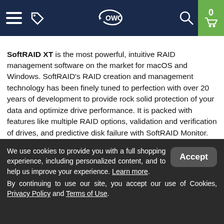OWC navigation bar with menu, tag, OWC logo, search, and cart (0)
SoftRAID XT is the most powerful, intuitive RAID management software on the market for macOS and Windows. SoftRAID’s RAID creation and management technology has been finely tuned to perfection with over 20 years of development to provide rock solid protection of your data and optimize drive performance. It is packed with features like multiple RAID options, validation and verification of drives, and predictive disk failure with SoftRAID Monitor. SoftRAID provides a level of performance that you simply can’t get with hardware RAID.
We use cookies to provide you with a full shopping experience, including personalized content, and to help us improve your experience. Learn more.
By continuing to use our site, you accept our use of Cookies, Privacy Policy and Terms of Use.